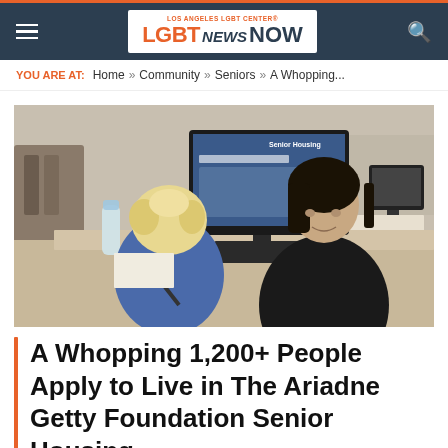LGBT NEWS NOW — Los Angeles LGBT Center
YOU ARE AT: Home » Community » Seniors » A Whopping...
[Figure (photo): A young woman with dark hair in a black top sits across a desk from an older person with curly blonde hair, with a computer monitor displaying 'Senior Housing' in the background. A water bottle is on the desk, and papers are visible. Office setting.]
A Whopping 1,200+ People Apply to Live in The Ariadne Getty Foundation Senior Housing